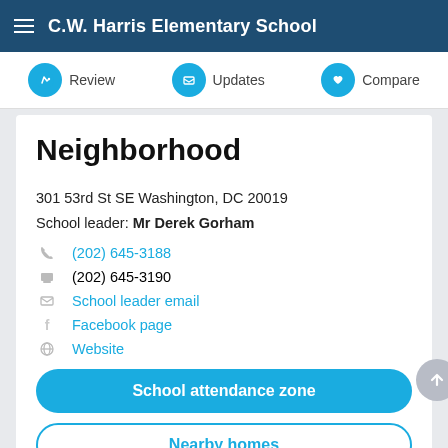C.W. Harris Elementary School
Review | Updates | Compare
Neighborhood
301 53rd St SE Washington, DC 20019
School leader: Mr Derek Gorham
(202) 645-3188
(202) 645-3190
School leader email
Facebook page
Website
School attendance zone
Nearby homes